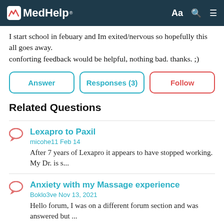MedHelp
I start school in febuary and Im exited/nervous so hopefully this all goes away.
conforting feedback would be helpful, nothing bad. thanks. ;)
Answer | Responses (3) | Follow
Related Questions
Lexapro to Paxil
micohe11 Feb 14
After 7 years of Lexapro it appears to have stopped working. My Dr. is s...
Anxiety with my Massage experience
Boklo3ve Nov 13, 2021
Hello forum, I was on a different forum section and was answered but ...